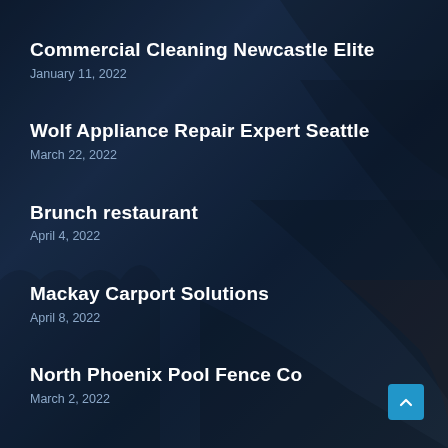Commercial Cleaning Newcastle Elite
January 11, 2022
Wolf Appliance Repair Expert Seattle
March 22, 2022
Brunch restaurant
April 4, 2022
Mackay Carport Solutions
April 8, 2022
North Phoenix Pool Fence Co
March 2, 2022